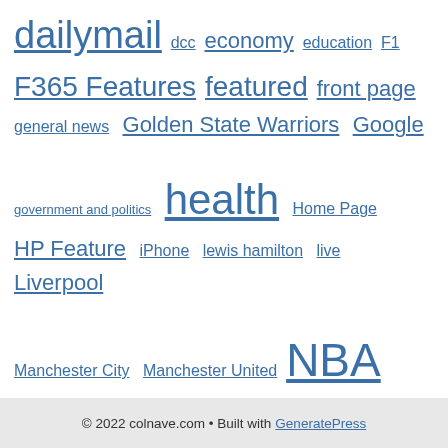dailymail dcc economy education F1 F365 Features featured front page general news Golden State Warriors Google government and politics health Home Page HP Feature iPhone lewis hamilton live Liverpool Manchester City Manchester United NBA News News And Analysis personal finance Philadelphia 76ers Promos sciencetech Sky soccer social issues sport sports technology video wire
© 2022 colnave.com • Built with GeneratePress